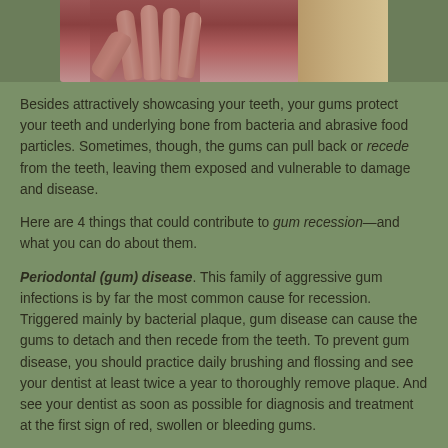[Figure (photo): Partial photo of a person with hands raised, wearing a dark red/maroon top, with blonde hair visible on the right side.]
Besides attractively showcasing your teeth, your gums protect your teeth and underlying bone from bacteria and abrasive food particles. Sometimes, though, the gums can pull back or recede from the teeth, leaving them exposed and vulnerable to damage and disease.
Here are 4 things that could contribute to gum recession—and what you can do about them.
Periodontal (gum) disease. This family of aggressive gum infections is by far the most common cause for recession. Triggered mainly by bacterial plaque, gum disease can cause the gums to detach and then recede from the teeth. To prevent gum disease, you should practice daily brushing and flossing and see your dentist at least twice a year to thoroughly remove plaque. And see your dentist as soon as possible for diagnosis and treatment at the first sign of red, swollen or bleeding gums.
Tooth position. While a tooth normally erupts surrounded by